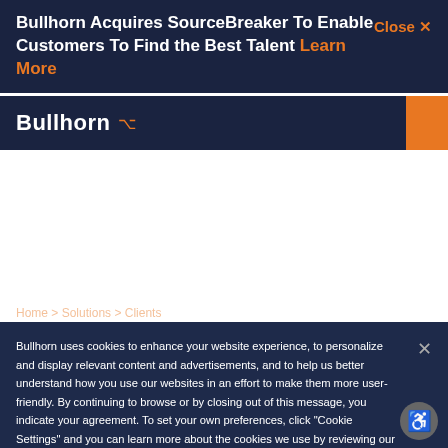Bullhorn Acquires SourceBreaker To Enable Customers To Find the Best Talent Learn More
[Figure (screenshot): Bullhorn website navigation bar with logo and orange icon, partial screenshot of site content]
Bullhorn uses cookies to enhance your website experience, to personalize and display relevant content and advertisements, and to help us better understand how you use our websites in an effort to make them more user-friendly. By continuing to browse or by closing out of this message, you indicate your agreement. To set your own preferences, click "Cookie Settings" and you can learn more about the cookies we use by reviewing our cookie policy.